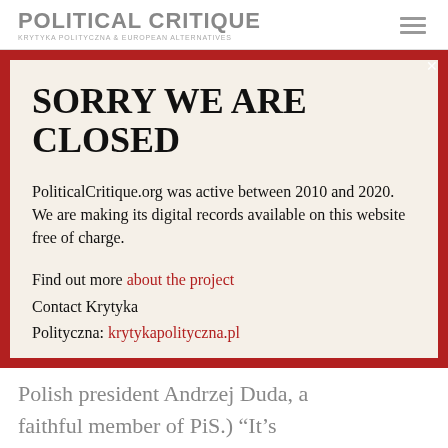POLITICAL CRITIQUE
KRYTYKA POLITYCZNA & EUROPEAN ALTERNATIVES
SORRY WE ARE CLOSED
PoliticalCritique.org was active between 2010 and 2020.  We are making its digital records available on this website free of charge.
Find out more about the project
Contact Krytyka Polityczna: krytykapolityczna.pl
Polish president Andrzej Duda, a faithful member of PiS.) “It’s